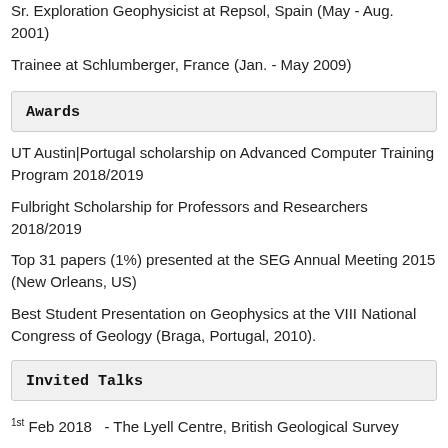Sr. Exploration Geophysicist at Repsol, Spain (May - Aug. 2001)
Trainee at Schlumberger, France (Jan. - May 2009)
Awards
UT Austin|Portugal scholarship on Advanced Computer Training Program 2018/2019
Fulbright Scholarship for Professors and Researchers 2018/2019
Top 31 papers (1%) presented at the SEG Annual Meeting 2015 (New Orleans, US)
Best Student Presentation on Geophysics at the VIII National Congress of Geology (Braga, Portugal, 2010).
Invited Talks
1st Feb 2018   - The Lyell Centre, British Geological Survey